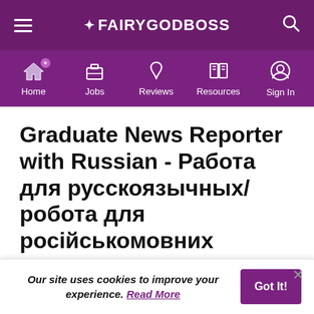FAIRYGODBOSS — navigation: Home, Jobs, Reviews, Resources, Sign In
Graduate News Reporter with Russian - Работа для русскоязычных/робота для російськомовних
Thomson Reuters  4.2
Our site uses cookies to improve your experience. Read More